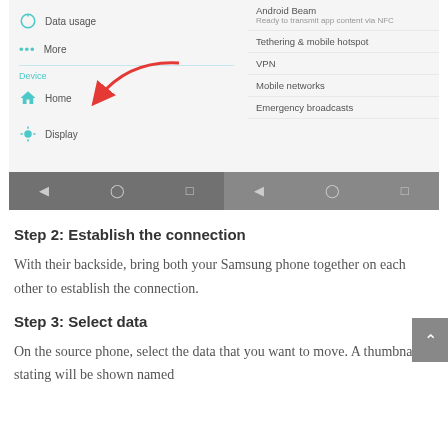[Figure (screenshot): Android settings screen showing two panels: left panel with Data usage, More (with red arrow annotation), Device section, Home, and Display menu items; right panel with Android Beam, Tethering & mobile hotspot, VPN, Mobile networks, Emergency broadcasts. Navigation bar with back/home/square icons at bottom in dark grey.]
Step 2: Establish the connection
With their backside, bring both your Samsung phone together on each other to establish the connection.
Step 3: Select data
On the source phone, select the data that you want to move. A thumbnail stating will be shown named